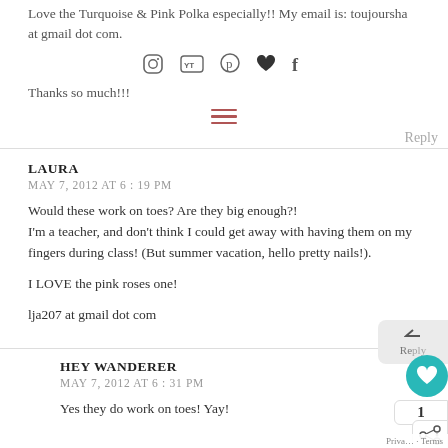Love the Turquoise & Pink Polka especially!! My email is: toujoursha at gmail dot com.
[Figure (infographic): Row of social media icons: Instagram, YouTube, Pinterest, heart/Bloglovin, Facebook]
Thanks so much!!!
[Figure (other): Hamburger menu icon (three horizontal lines in dark red/mauve color)]
Reply
LAURA
MAY 7, 2012 AT 6 : 19 PM
Would these work on toes? Are they big enough?!
I'm a teacher, and don't think I could get away with having them on my fingers during class! (But summer vacation, hello pretty nails!).

I LOVE the pink roses one!

lja207 at gmail dot com
Reply
HEY WANDERER
MAY 7, 2012 AT 6 : 31 PM
Yes they do work on toes! Yay!